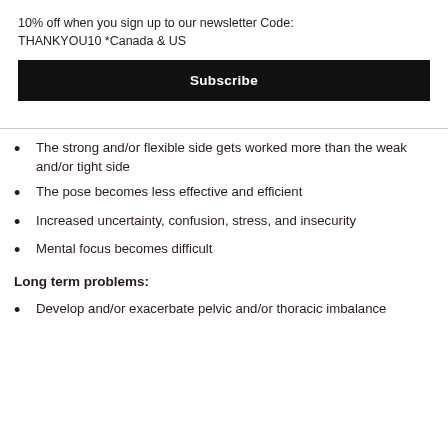10% off when you sign up to our newsletter Code: THANKYOU10 *Canada & US
Subscribe
The strong and/or flexible side gets worked more than the weak and/or tight side
The pose becomes less effective and efficient
Increased uncertainty, confusion, stress, and insecurity
Mental focus becomes difficult
Long term problems:
Develop and/or exacerbate pelvic and/or thoracic imbalance